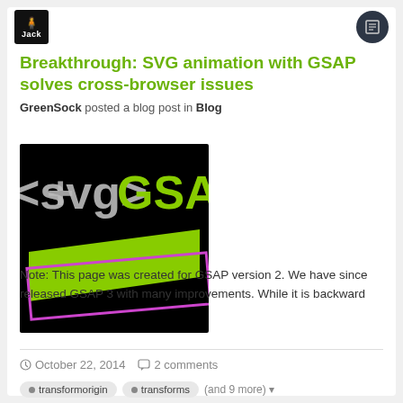[Figure (logo): Jack avatar logo — dark background with stylized figure and 'Jack' text]
Breakthrough: SVG animation with GSAP solves cross-browser issues
GreenSock posted a blog post in Blog
[Figure (illustration): Black background image showing '<svg> + GSAP' text with green and magenta geometric shapes]
Note: This page was created for GSAP version 2. We have since released GSAP 3 with many improvements. While it is backward
October 22, 2014   2 comments
transformorigin  transforms  (and 9 more)